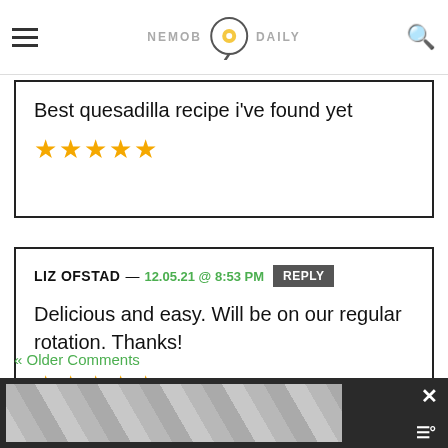NEMOB — navigation header with logo and search
Best quesadilla recipe i've found yet
★★★★★
LIZ OFSTAD — 12.05.21 @ 8:53 PM REPLY
Delicious and easy. Will be on our regular rotation. Thanks!
★★★★★
« Older Comments